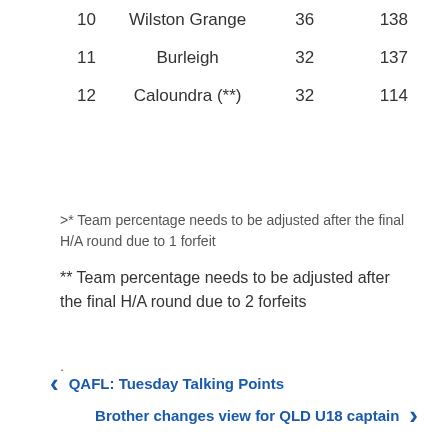| 10 | Wilston Grange | 36 | 138 |
| 11 | Burleigh | 32 | 137 |
| 12 | Caloundra (**) | 32 | 114 |
>* Team percentage needs to be adjusted after the final H/A round due to 1 forfeit
** Team percentage needs to be adjusted after the final H/A round due to 2 forfeits
.
< QAFL: Tuesday Talking Points
Brother changes view for QLD U18 captain >